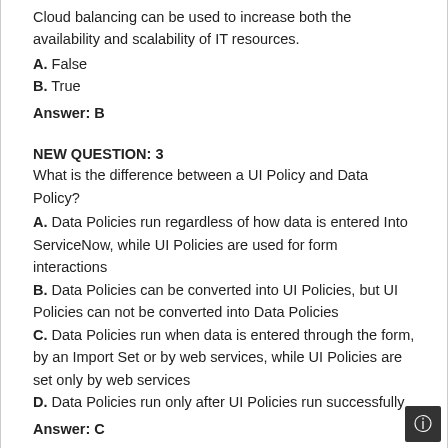Cloud balancing can be used to increase both the availability and scalability of IT resources.
A. False
B. True
Answer: B
NEW QUESTION: 3
What is the difference between a UI Policy and Data Policy?
A. Data Policies run regardless of how data is entered Into ServiceNow, while UI Policies are used for form interactions
B. Data Policies can be converted into UI Policies, but UI Policies can not be converted into Data Policies
C. Data Policies run when data is entered through the form, by an Import Set or by web services, while UI Policies are set only by web services
D. Data Policies run only after UI Policies run successfully
Answer: C